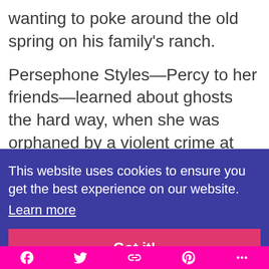wanting to poke around the old spring on his family’s ranch.
Persephone Styles—Percy to her friends—learned about ghosts the hard way, when she was orphaned by a violent crime at the age of seven. Ever since, she’s seen spirits and been obsessed with studying
This website uses cookies to ensure you get the best experience on our website.
Learn more
Got it!